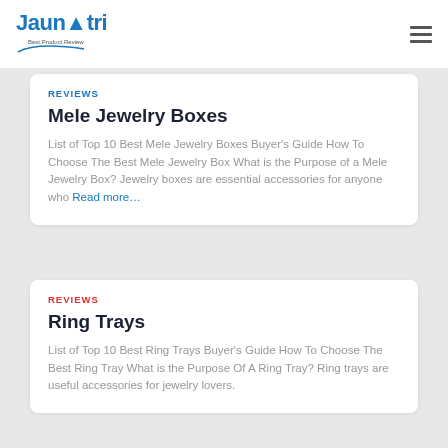Jaunatri Best Product Review
REVIEWS
Mele Jewelry Boxes
List of Top 10 Best Mele Jewelry Boxes Buyer's Guide How To Choose The Best Mele Jewelry Box What is the Purpose of a Mele Jewelry Box? Jewelry boxes are essential accessories for anyone who Read more...
REVIEWS
Ring Trays
List of Top 10 Best Ring Trays Buyer's Guide How To Choose The Best Ring Tray What is the Purpose Of A Ring Tray? Ring trays are useful accessories for jewelry lovers.